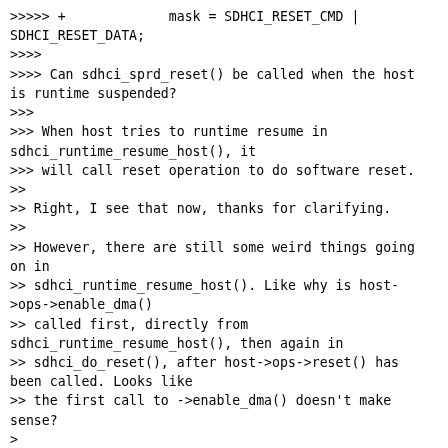>>>>> +             mask = SDHCI_RESET_CMD | SDHCI_RESET_DATA;
>>>>
>>>> Can sdhci_sprd_reset() be called when the host is runtime suspended?
>>>
>>> When host tries to runtime resume in sdhci_runtime_resume_host(), it
>>> will call reset operation to do software reset.
>>
>> Right, I see that now, thanks for clarifying.
>>
>> However, there are still some weird things going on in
>> sdhci_runtime_resume_host(). Like why is host->ops->enable_dma()
>> called first, directly from sdhci_runtime_resume_host(), then again in
>> sdhci_do_reset(), after host->ops->reset() has been called. Looks like
>> the first call to ->enable_dma() doesn't make sense?
>
> I am mot sure, since our host did not supply enable_dma() operation.
> This logic was used by some other hardware and worked well, I am not
> sure if it can reveal some issues if we change the logic here.
>
> Adrian, could you help to explain why we put